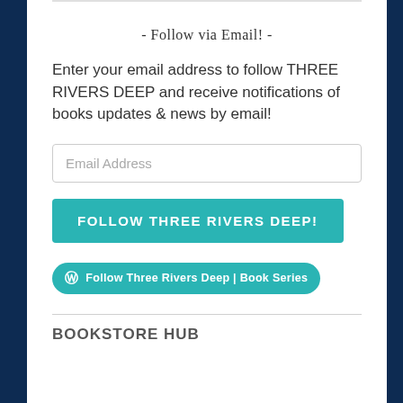- Follow via Email! -
Enter your email address to follow THREE RIVERS DEEP and receive notifications of books updates & news by email!
[Figure (screenshot): Email address input field with placeholder text 'Email Address']
[Figure (screenshot): Teal button with bold uppercase text 'FOLLOW THREE RIVERS DEEP!']
[Figure (screenshot): Teal rounded WordPress follow button with WordPress icon and text 'Follow Three Rivers Deep | Book Series']
BOOKSTORE HUB